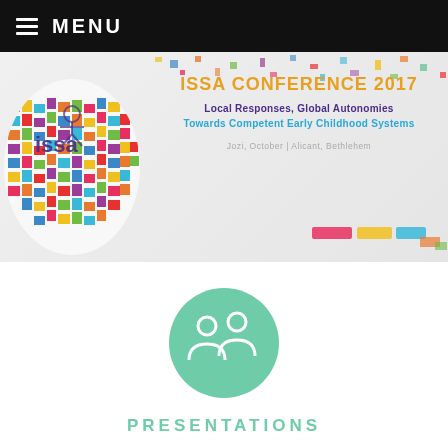MENU
[Figure (illustration): ISSA Conference 2017 banner with colorful globe logo on the left and conference title text: ISSA CONFERENCE 2017, Local Responses, Global Autonomies, Towards Competent Early Childhood Systems, Jozi, October / Alicant, Bethlehem]
[Figure (illustration): Teal circle with white people/group icon]
PRESENTATIONS